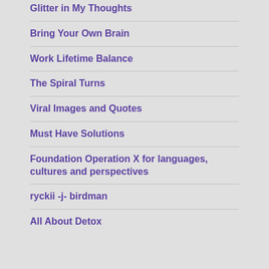Glitter in My Thoughts
Bring Your Own Brain
Work Lifetime Balance
The Spiral Turns
Viral Images and Quotes
Must Have Solutions
Foundation Operation X for languages, cultures and perspectives
ryckii -j- birdman
All About Detox